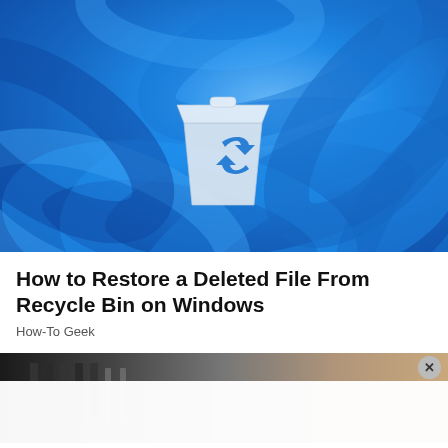[Figure (screenshot): Windows 11 desktop wallpaper with flowing blue ribbon/petal shapes and a Recycle Bin icon (transparent/glass style with blue recycle arrows) centered on the image.]
How to Restore a Deleted File From Recycle Bin on Windows
How-To Geek
[Figure (photo): Partial photo of computer hardware/desk setup, partially obscured by a white overlay bar with a close (x) button.]